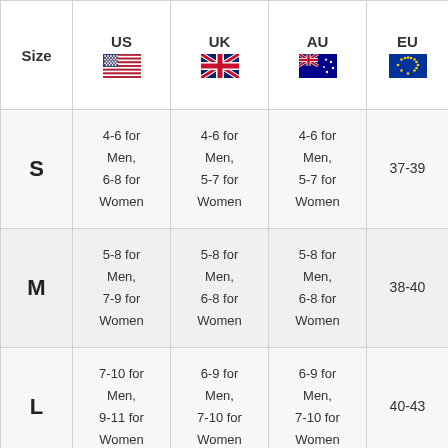| Size | US | UK | AU | EU |
| --- | --- | --- | --- | --- |
| S | 4-6 for Men, 6-8 for Women | 4-6 for Men, 5-7 for Women | 4-6 for Men, 5-7 for Women | 37-39 |
| M | 5-8 for Men, 7-9 for Women | 5-8 for Men, 6-8 for Women | 5-8 for Men, 6-8 for Women | 38-40 |
| L | 7-10 for Men, 9-11 for Women | 6-9 for Men, 7-10 for Women | 6-9 for Men, 7-10 for Women | 40-43 |